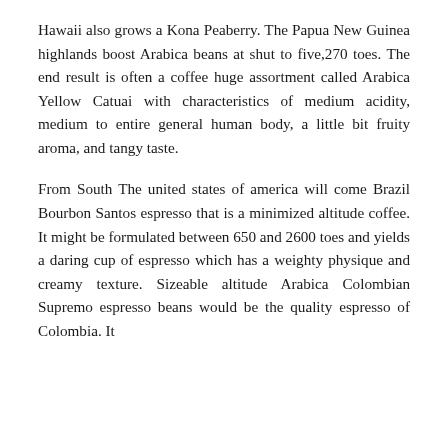Hawaii also grows a Kona Peaberry. The Papua New Guinea highlands boost Arabica beans at shut to five,270 toes. The end result is often a coffee huge assortment called Arabica Yellow Catuai with characteristics of medium acidity, medium to entire general human body, a little bit fruity aroma, and tangy taste.
From South The united states of america will come Brazil Bourbon Santos espresso that is a minimized altitude coffee. It might be formulated between 650 and 2600 toes and yields a daring cup of espresso which has a weighty physique and creamy texture. Sizeable altitude Arabica Colombian Supremo espresso beans would be the quality espresso of Colombia. It